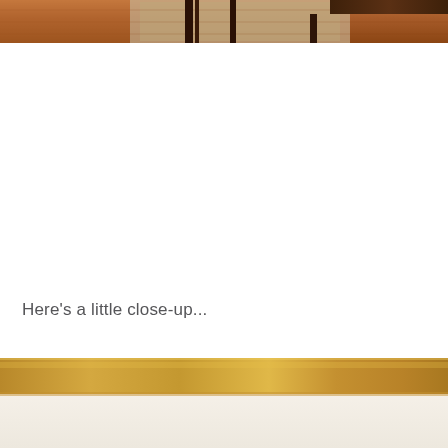[Figure (photo): Top portion of an interior room photo showing hardwood floors, a patterned rug, wooden furniture legs, and a wooden table edge — mid-century modern style living room]
Here's a little close-up...
[Figure (photo): Close-up photo showing the top edge of a golden/brass metallic surface above a cream/off-white surface — partial view of a decorative object or furniture piece]